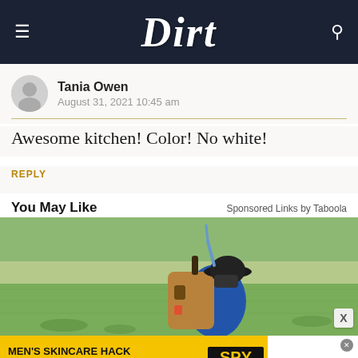Dirt
Tania Owen
August 31, 2021 10:45 am
Awesome kitchen! Color! No white!
REPLY
You May Like
Sponsored Links by Taboola
[Figure (photo): Person wearing a wide-brim hat and face covering, carrying a brown backpack sprayer tank, standing in a green field]
MEN'S SKINCARE HACK
HIDE ACNE FOR $24